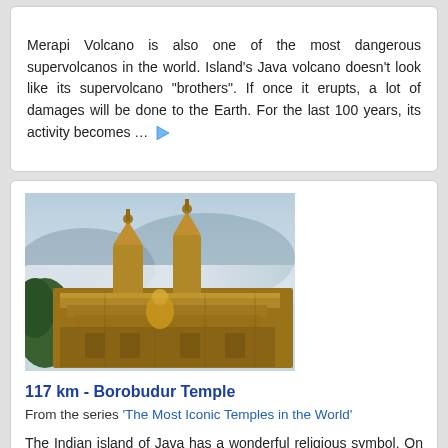Merapi Volcano is also one of the most dangerous supervolcanos in the world. Island's Java volcano doesn't look like its supervolcano "brothers". If once it erupts, a lot of damages will be done to the Earth. For the last 100 years, its activity becomes … ▶
[Figure (photo): Photo of Borobudur Temple stupas in golden/amber light with misty mountain background and green trees]
117 km - Borobudur Temple
From the series 'The Most Iconic Temples in the World'
The Indian island of Java has a wonderful religious symbol. On the isterritorium is the beautiful Buddhist temple Borobudur. It